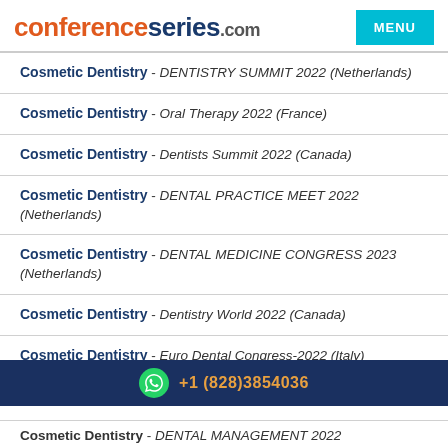conferenceseries.com  MENU
Cosmetic Dentistry - DENTISTRY SUMMIT 2022 (Netherlands)
Cosmetic Dentistry - Oral Therapy 2022 (France)
Cosmetic Dentistry - Dentists Summit 2022 (Canada)
Cosmetic Dentistry - DENTAL PRACTICE MEET 2022 (Netherlands)
Cosmetic Dentistry - DENTAL MEDICINE CONGRESS 2023 (Netherlands)
Cosmetic Dentistry - Dentistry World 2022 (Canada)
Cosmetic Dentistry - Euro Dental Congress-2022 (Italy)
+1 (828)3854036
Cosmetic Dentistry - DENTAL MANAGEMENT 2022